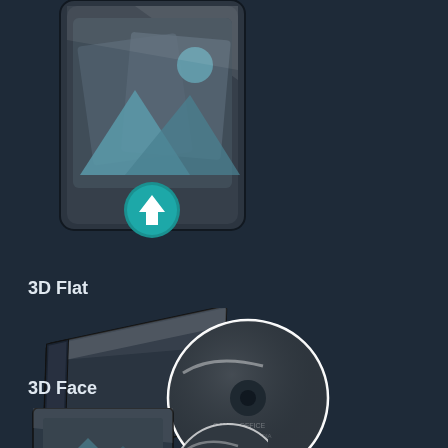[Figure (illustration): A 3D icon showing a photo/image placeholder with a teal upload arrow circle at the bottom center, glass-like reflective surface, dark rounded rectangle frame]
3D Flat
[Figure (illustration): A 3D flat perspective icon showing a CD/DVD disc partially out of a dark jewel case, lying flat at an angle, with reflective glass surface]
3D Face
[Figure (illustration): A 3D face-on icon showing a CD/DVD disc partially out of a dark jewel case, viewed more from the front, partially cropped at bottom]